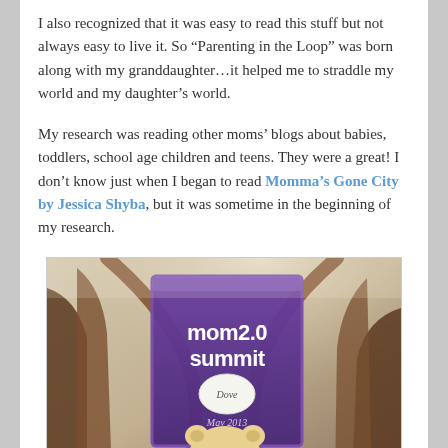I also recognized that it was easy to read this stuff but not always easy to live it. So “Parenting in the Loop” was born along with my granddaughter…it helped me to straddle my world and my daughter’s world.
My research was reading other moms’ blogs about babies, toddlers, school age children and teens. They were a great! I don’t know just when I began to read Momma’s Gone City by Jessica Shyba, but it was sometime in the beginning of my research.
[Figure (photo): A photo of a Mom 2.0 Summit conference booklet with a Dove sponsor sticker on it, dated May 2013, Atlanta. A plush stuffed animal toy is visible in the foreground, and a bag/chair in the background.]